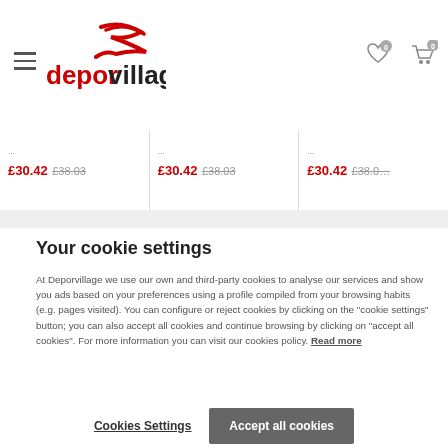[Figure (logo): Deporvillage logo with red swoosh graphic and text 'deporvillage']
£30.42  £38.03   £30.42  £38.03   £30.42  £38.0...
Your cookie settings
At Deporvillage we use our own and third-party cookies to analyse our services and show you ads based on your preferences using a profile compiled from your browsing habits (e.g. pages visited). You can configure or reject cookies by clicking on the "cookie settings" button; you can also accept all cookies and continue browsing by clicking on "accept all cookies". For more information you can visit our cookies policy. Read more
Cookies Settings   Accept all cookies